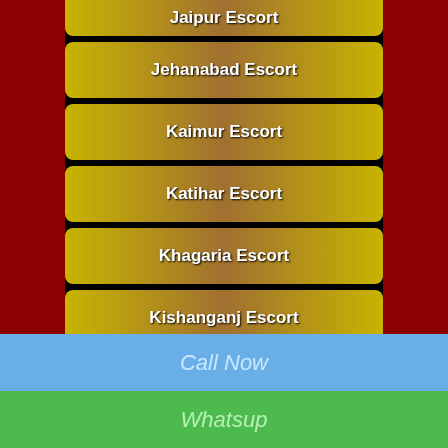Jaipur Escort
Jehanabad Escort
Kaimur Escort
Katihar Escort
Khagaria Escort
Kishanganj Escort
Lakhisarai Escort
Madhepura Escort
Madhubani Escort
Munger Escort
Muzaffarpur Escort
Call Now
Whatsup